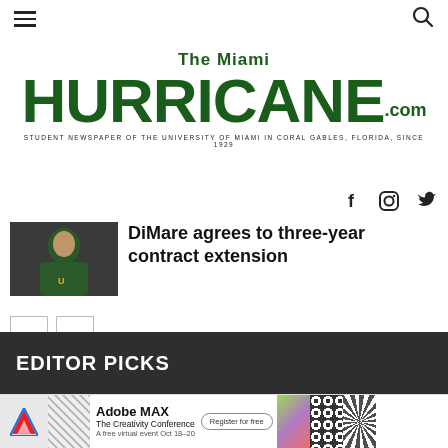The Miami Hurricane.com — Student Newspaper of the University of Miami in Coral Gables, Florida, since 1929
DiMare agrees to three-year contract extension
[Figure (photo): Photo of a man in a green University of Miami jacket/polo, appearing to be a coach on the sideline]
EDITOR PICKS
[Figure (infographic): Adobe MAX — The Creativity Conference advertisement banner. Text: Adobe MAX, The Creativity Conference, A free virtual event Oct 18-20, Register for free]